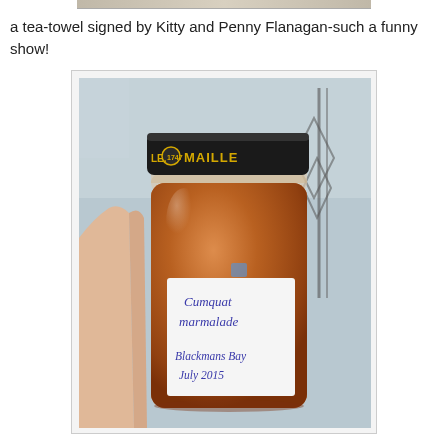a tea-towel signed by Kitty and Penny Flanagan-such a funny show!
[Figure (photo): A hand holding a glass jar with a black Maille lid and a handwritten white label reading 'Cumquat marmalade Blackmans Bay July 2015'. The jar contains orange-brown marmalade. Background shows kitchen items including a wire whisk.]